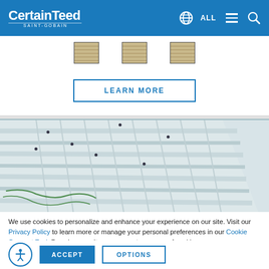CertainTeed SAINT-GOBAIN
[Figure (screenshot): Three product thumbnail images showing ceiling or siding panels]
LEARN MORE
[Figure (photo): Close-up photo of white ceiling panels/grid system installed at an angle, showing ribbed texture and fasteners]
We use cookies to personalize and enhance your experience on our site. Visit our Privacy Policy to learn more or manage your personal preferences in our Cookie Consent Tool. By using our site, you agree to our use of cookies.
ACCEPT
OPTIONS